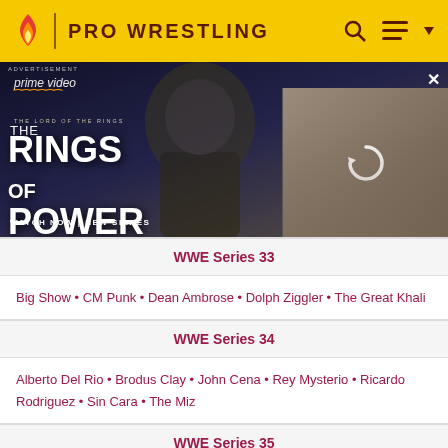PRO WRESTLING
[Figure (screenshot): Amazon Prime Video advertisement for The Lord of the Rings: The Rings of Power. Shows hooded figure and cast photo with WATCH NOW | NEW SERIES text.]
WWE Series 33
Big Show • CM Punk • Dean Ambrose • Dolph Ziggler • The Great Khali
WWE Series 34
Alberto Del Rio • Brodus Clay • John Cena • Rey Mysterio • Ricardo Rodriguez • Sin Cara • The Miz
WWE Series 35